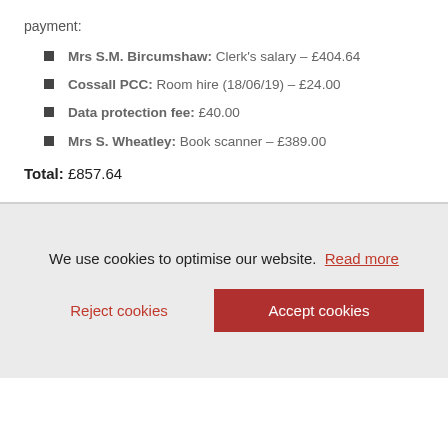payment:
Mrs S.M. Bircumshaw: Clerk's salary – £404.64
Cossall PCC: Room hire (18/06/19) – £24.00
Data protection fee: £40.00
Mrs S. Wheatley: Book scanner – £389.00
Total: £857.64
We use cookies to optimise our website. Read more
Reject cookies
Accept cookies